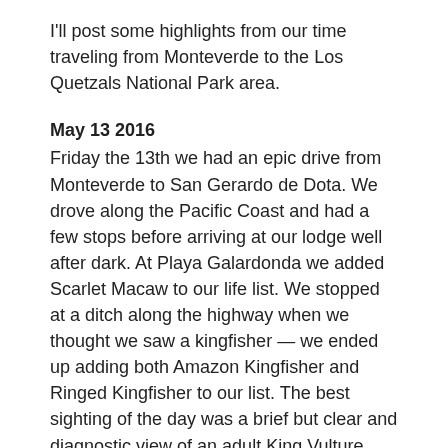I'll post some highlights from our time traveling from Monteverde to the Los Quetzals National Park area.
May 13 2016
Friday the 13th we had an epic drive from Monteverde to San Gerardo de Dota. We drove along the Pacific Coast and had a few stops before arriving at our lodge well after dark. At Playa Galardonda we added Scarlet Macaw to our life list. We stopped at a ditch along the highway when we thought we saw a kingfisher — we ended up adding both Amazon Kingfisher and Ringed Kingfisher to our list. The best sighting of the day was a brief but clear and diagnostic view of an adult King Vulture flying over the car along a stretch of highway where it was unfortunately impossible to stop.
May 14 2016